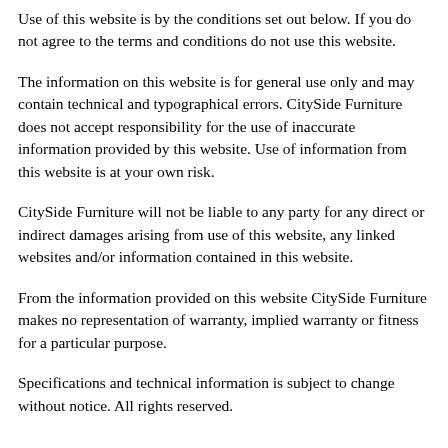Use of this website is by the conditions set out below. If you do not agree to the terms and conditions do not use this website.
The information on this website is for general use only and may contain technical and typographical errors. CitySide Furniture does not accept responsibility for the use of inaccurate information provided by this website. Use of information from this website is at your own risk.
CitySide Furniture will not be liable to any party for any direct or indirect damages arising from use of this website, any linked websites and/or information contained in this website.
From the information provided on this website CitySide Furniture makes no representation of warranty, implied warranty or fitness for a particular purpose.
Specifications and technical information is subject to change without notice. All rights reserved.